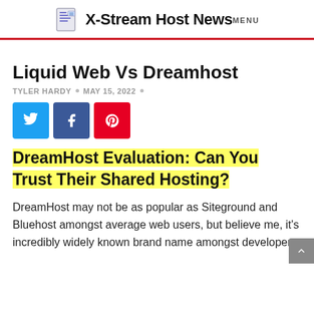X-Stream Host News MENU
Liquid Web Vs Dreamhost
TYLER HARDY • MAY 15, 2022 •
[Figure (other): Social share buttons: Twitter (blue), Facebook (dark blue), Pinterest (red)]
DreamHost Evaluation: Can You Trust Their Shared Hosting?
DreamHost may not be as popular as Siteground and Bluehost amongst average web users, but believe me, it's incredibly widely known brand name amongst developers,